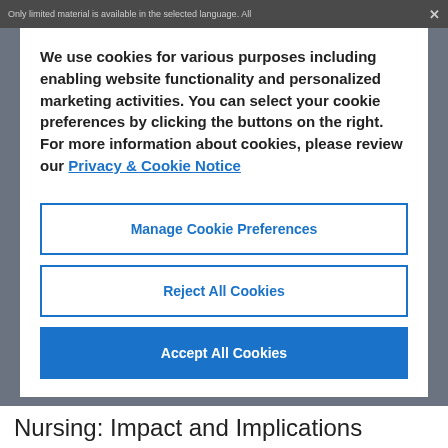Only limited material is available in the selected language. All
We use cookies for various purposes including enabling website functionality and personalized marketing activities. You can select your cookie preferences by clicking the buttons on the right. For more information about cookies, please review our Privacy & Cookie Notice
Manage Cookie Preferences
Reject All Cookies
Accept All Cookies
Nursing: Impact and Implications